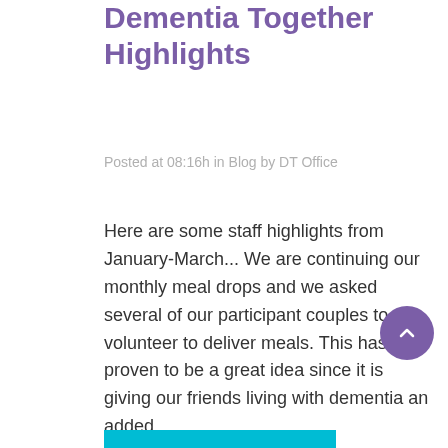Dementia Together Highlights
Posted at 08:16h in Blog by DT Office
Here are some staff highlights from January-March... We are continuing our monthly meal drops and we asked several of our participant couples to volunteer to deliver meals. This has proven to be a great idea since it is giving our friends living with dementia an added...